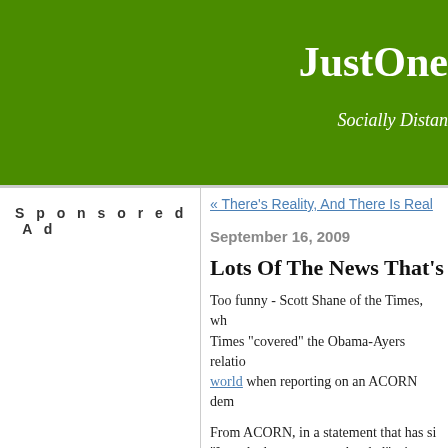JustOne... Socially Distan...
Sponsored Ad
« There's Reality, And There Is Real...
September 16, 2009
Lots Of The News That's Fit To Pr...
Too funny - Scott Shane of the Times, wh... Times "covered" the Obama-Ayers relatio... world when reporting on an ACORN dem...
From ACORN, in a statement that has si... "I need a loan to open a brothel" sting re...
This recent scam, which was atte... New York, Philadelphia to name a... before the results we've all recent...
Following that list, Big Government rele... ACORN employee in New York City.  Oo... with this report: